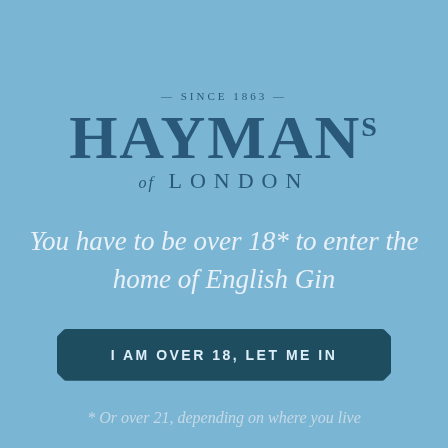[Figure (logo): Hayman's of London gin brand logo with 'Since 1863' text above, large serif 'HAYMANS' text with superscript 's', and 'of LONDON' below in spaced capitals]
You have to be over 18* to enter the home of English Gin
I AM OVER 18, LET ME IN
* Or over 21, depending on where you live